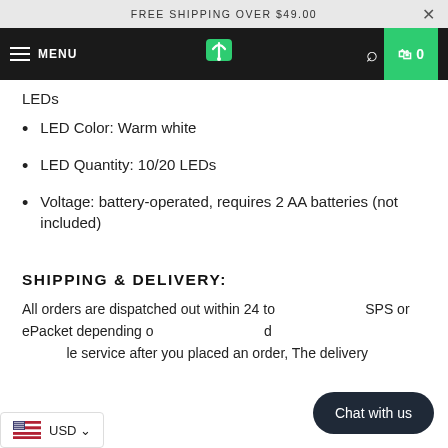FREE SHIPPING OVER $49.00
MENU | Logo | Search | Cart 0
LEDs
LED Color: Warm white
LED Quantity: 10/20 LEDs
Voltage: battery-operated, requires 2 AA batteries (not included)
SHIPPING & DELIVERY:
All orders are dispatched out within 24 to ... SPS or ePacket depending o... d ... le service after you placed an order, The delivery